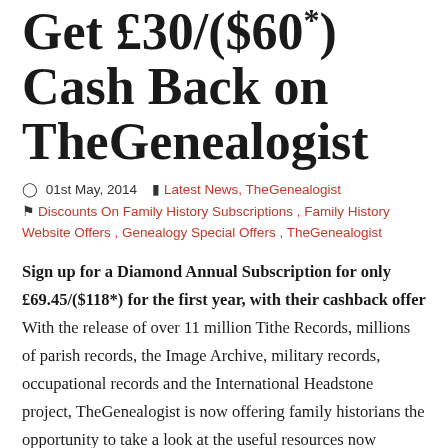Get £30/($60*) Cash Back on TheGenealogist
01st May, 2014  Latest News, TheGenealogist  Discounts On Family History Subscriptions , Family History Website Offers , Genealogy Special Offers , TheGenealogist
Sign up for a Diamond Annual Subscription for only £69.45/($118*) for the first year, with their cashback offer With the release of over 11 million Tithe Records, millions of parish records, the Image Archive, military records, occupational records and the International Headstone project, TheGenealogist is now offering family historians the opportunity to take a look at the useful resources now available on TheGenealogist at a special one-time reduced price. With many genealogy sites struggling with implementing new features and layouts,